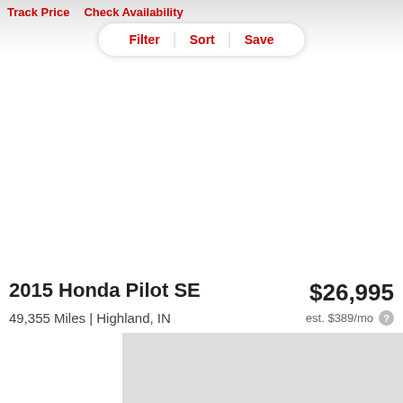Track Price   Check Availability
Filter   Sort   Save
2015 Honda Pilot SE
$26,995
49,355 Miles | Highland, IN
est. $389/mo
Track Price   Check Availability
[Figure (other): Gray placeholder image block at bottom of page (partial car listing image)]